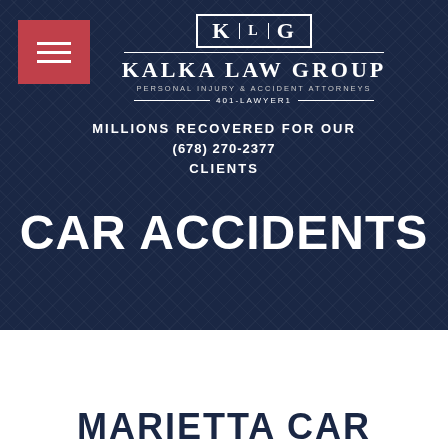[Figure (logo): Kalka Law Group logo with KLG monogram box, firm name, tagline 'PERSONAL INJURY & ACCIDENT ATTORNEYS', and phone number '401-LAWYER1']
MILLIONS RECOVERED FOR OUR CLIENTS
(678) 270-2377
CAR ACCIDENTS
MARIETTA CAR